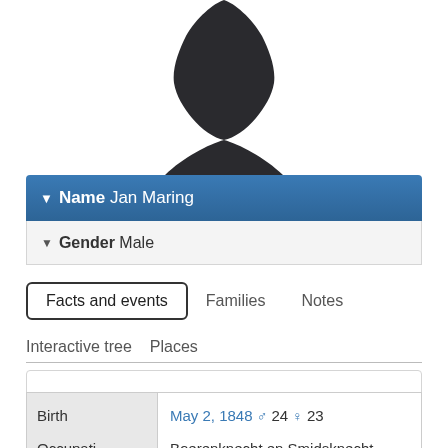[Figure (illustration): Dark silhouette of a person (upper body / bust) on white background]
Name Jan Maring
Gender Male
Facts and events   Families   Notes
Interactive tree   Places
Events of close relatives
|  |  |
| --- | --- |
| Birth | May 2, 1848 ♂ 24 ♀ 23 |
| Occupati | Boerenknecht en Smidsknecht |